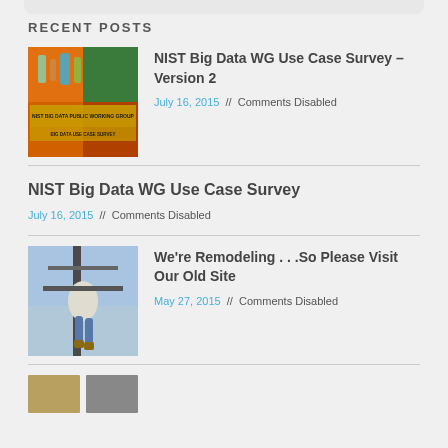RECENT POSTS
[Figure (photo): Book cover or report cover with chemistry bottles and flames, NIST Big Data public working group]
NIST Big Data WG Use Case Survey – Version 2
July 16, 2015  //  Comments Disabled
NIST Big Data WG Use Case Survey
July 16, 2015  //  Comments Disabled
[Figure (photo): Worker on utility pole or industrial structure outdoors]
We're Remodeling . . .So Please Visit Our Old Site
May 27, 2015  //  Comments Disabled